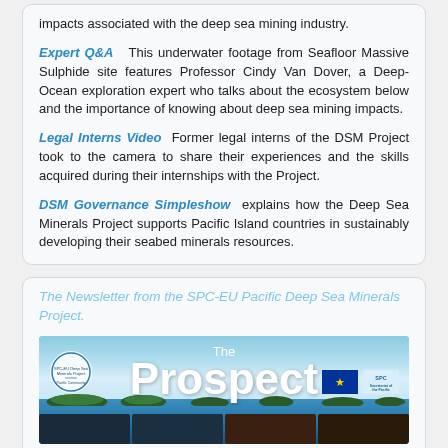impacts associated with the deep sea mining industry.
Expert Q&A  This underwater footage from Seafloor Massive Sulphide site features Professor Cindy Van Dover, a Deep-Ocean exploration expert who talks about the ecosystem below and the importance of knowing about deep sea mining impacts.
Legal Interns Video  Former legal interns of the DSM Project took to the camera to share their experiences and the skills acquired during their internships with the Project.
DSM Governance Simpleshow  explains how the Deep Sea Minerals Project supports Pacific Island countries in sustainably developing their seabed minerals resources.
The Newsletter from the SPC-EU Pacific Deep Sea Minerals Project.
[Figure (illustration): The Prospect newsletter cover image showing ocean/sky background with large white text 'The Prospect', SPC-EU Deep Sea Minerals Project logo on left, EU flag and SPC logo on right, small thumbnail images along bottom strip.]